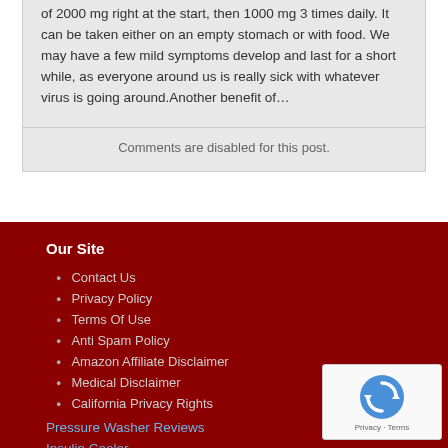of 2000 mg right at the start, then 1000 mg 3 times daily. It can be taken either on an empty stomach or with food. We may have a few mild symptoms develop and last for a short while, as everyone around us is really sick with whatever virus is going around.Another benefit of…
Comments are disabled for this post.
Our Site
Contact Us
Privacy Policy
Terms Of Use
Anti Spam Policy
Amazon Affiliate Disclaimer
Medical Disclaimer
California Privacy Rights
Pressure Washer Reviews
Insulin Cooler
citizen nighthawk